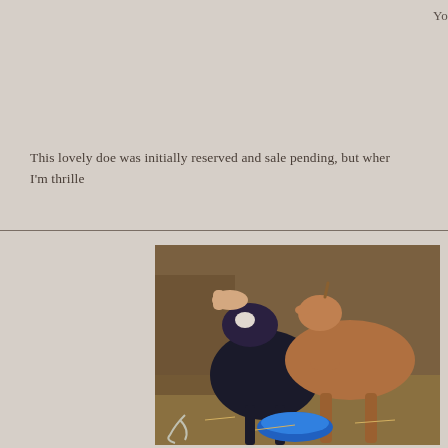Yo
This lovely doe was initially reserved and sale pending, but wher I'm thrille
[Figure (photo): Two goats in a barn/pen setting — a black and tan goat and a brown/tan goat interacting near a blue bowl/bucket on a hay-covered ground. A human hand is visible holding the black goat's head.]